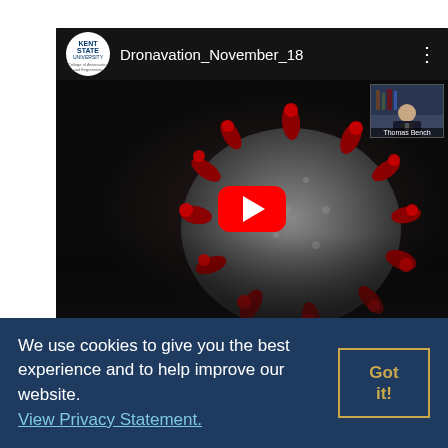[Figure (screenshot): YouTube video thumbnail showing a coronavirus particle image with red play button. Video title is 'Dronavation_November_18' with Kent State University logo in top left and a presenter thumbnail in top right.]
Save the date for April 2021 and keep an eye out for more information about our next symposuim!
We use cookies to give you the best experience and to help improve our website. View Privacy Statement.
POSTED: FRIDAY, NOVEMBER 20, 2020 - 6:32PM